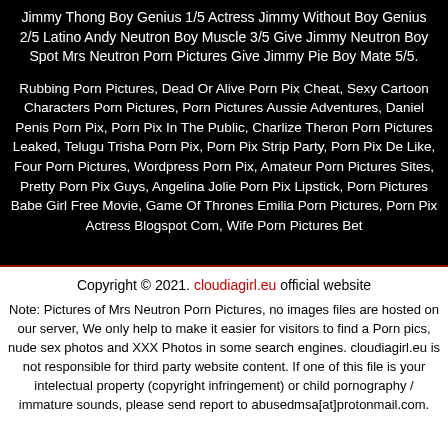Jimmy Thong Boy Genius 1/5 Actress Jimmy Without Boy Genius 2/5 Latino Andy Neutron Boy Muscle 3/5 Give Jimmy Neutron Boy Spot Mrs Neutron Porn Pictures Give Jimmy Pie Boy Mate 5/5.
Rubbing Porn Pictures, Dead Or Alive Porn Pix Cheat, Sexy Cartoon Characters Porn Pictures, Porn Pictures Aussie Adventures, Daniel Penis Porn Pix, Porn Pix In The Public, Charlize Theron Porn Pictures Leaked, Telugu Trisha Porn Pix, Porn Pix Strip Party, Porn Pix De Like, Four Porn Pictures, Wordpress Porn Pix, Amateur Porn Pictures Sites, Pretty Porn Pix Guys, Angelina Jolie Porn Pix Lipstick, Porn Pictures Babe Girl Free Movie, Game Of Thrones Emilia Porn Pictures, Porn Pix Actress Blogspot Com, Wife Porn Pictures Bet
Copyright © 2021. cloudiagirl.eu official website
Note: Pictures of Mrs Neutron Porn Pictures, no images files are hosted on our server, We only help to make it easier for visitors to find a Porn pics, nude sex photos and XXX Photos in some search engines. cloudiagirl.eu is not responsible for third party website content. If one of this file is your intelectual property (copyright infringement) or child pornography / immature sounds, please send report to abusedmsa[at]protonmail.com.